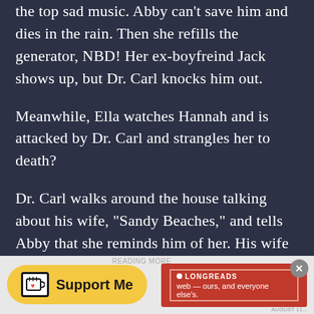the top sad music. Abby can't save him and dies in the rain. Then she refills the generator, NBD! Her ex-boyfreind Jack shows up, but Dr. Carl knocks him out.
Meanwhile, Ella watches Hannah and is attacked by Dr. Carl and strangles her to death?
Dr. Carl walks around the house talking about his wife, “Sandy Beaches,” and tells Abby that she reminds him of her. His wife died in a storm, not because of the storm itself, but because Dr. Carl found her cheating on him with the neighbor. He killed her because he IS the storm. Abby jumps up from behind a couch and stabs Dr. Carl in the